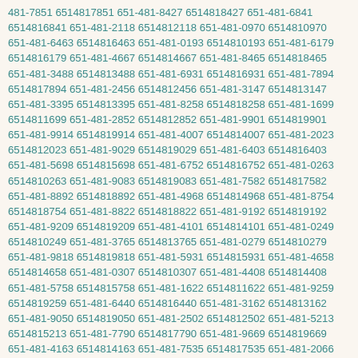481-7851 6514817851 651-481-8427 6514818427 651-481-6841 6514816841 651-481-2118 6514812118 651-481-0970 6514810970 651-481-6463 6514816463 651-481-0193 6514810193 651-481-6179 6514816179 651-481-4667 6514814667 651-481-8465 6514818465 651-481-3488 6514813488 651-481-6931 6514816931 651-481-7894 6514817894 651-481-2456 6514812456 651-481-3147 6514813147 651-481-3395 6514813395 651-481-8258 6514818258 651-481-1699 6514811699 651-481-2852 6514812852 651-481-9901 6514819901 651-481-9914 6514819914 651-481-4007 6514814007 651-481-2023 6514812023 651-481-9029 6514819029 651-481-6403 6514816403 651-481-5698 6514815698 651-481-6752 6514816752 651-481-0263 6514810263 651-481-9083 6514819083 651-481-7582 6514817582 651-481-8892 6514818892 651-481-4968 6514814968 651-481-8754 6514818754 651-481-8822 6514818822 651-481-9192 6514819192 651-481-9209 6514819209 651-481-4101 6514814101 651-481-0249 6514810249 651-481-3765 6514813765 651-481-0279 6514810279 651-481-9818 6514819818 651-481-5931 6514815931 651-481-4658 6514814658 651-481-0307 6514810307 651-481-4408 6514814408 651-481-5758 6514815758 651-481-1622 6514811622 651-481-9259 6514819259 651-481-6440 6514816440 651-481-3162 6514813162 651-481-9050 6514819050 651-481-2502 6514812502 651-481-5213 6514815213 651-481-7790 6514817790 651-481-9669 6514819669 651-481-4163 6514814163 651-481-7535 6514817535 651-481-2066 6514812066 651-481-4425 6514814425 651-481-6055 6514816055 651-481-1905 6514811905 651-481-6809 6514816809 651-481-2960 6514812960 651-481-5801 6514815801 651-481-6427 6514816427 651-481-2278 6514812278 651-481-6972 6514816972 651-481-6099